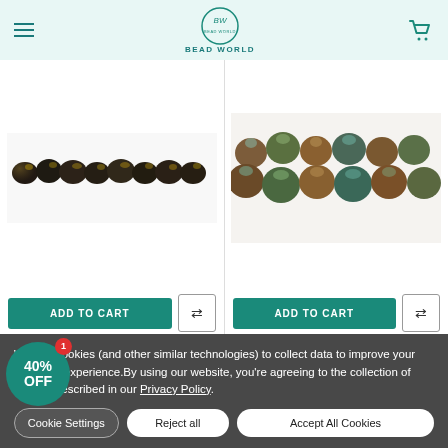BEAD WORLD
[Figure (photo): String of dark brown/black faceted beads on white background]
[Figure (photo): Close-up of colorful earth-tone round beads with iridescent finish]
We use cookies (and other similar technologies) to collect data to improve your shopping experience.By using our website, you're agreeing to the collection of data as described in our Privacy Policy.